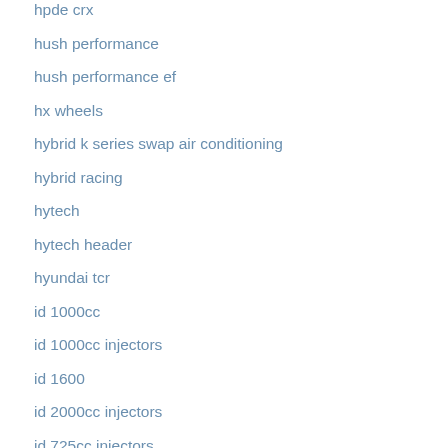hpde crx
hush performance
hush performance ef
hx wheels
hybrid k series swap air conditioning
hybrid racing
hytech
hytech header
hyundai tcr
id 1000cc
id 1000cc injectors
id 1600
id 2000cc injectors
id 725cc injectors
id 750cc